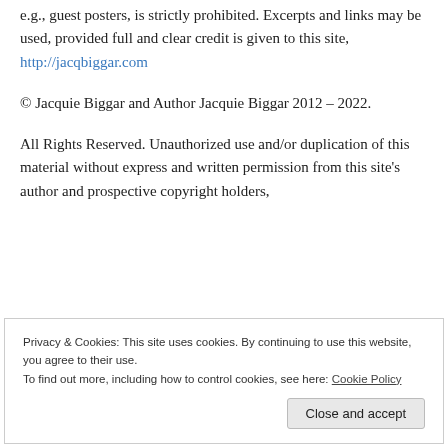e.g., guest posters, is strictly prohibited. Excerpts and links may be used, provided full and clear credit is given to this site, http://jacqbiggar.com
© Jacquie Biggar and Author Jacquie Biggar 2012 – 2022.
All Rights Reserved. Unauthorized use and/or duplication of this material without express and written permission from this site's author and prospective copyright holders,
Privacy & Cookies: This site uses cookies. By continuing to use this website, you agree to their use.
To find out more, including how to control cookies, see here: Cookie Policy
Close and accept